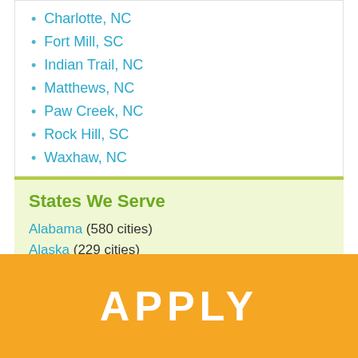Charlotte, NC
Fort Mill, SC
Indian Trail, NC
Matthews, NC
Paw Creek, NC
Rock Hill, SC
Waxhaw, NC
States We Serve
Alabama (580 cities)
Alaska (229 cities)
Arizona (264 cities)
Arkansas (605 cities)
APPLY